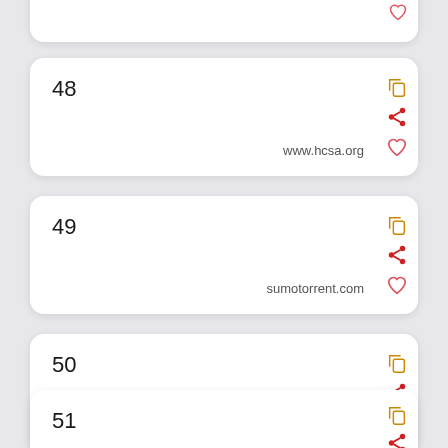(partial card, top)
48  www.hcsa.org
49  sumotorrent.com
50  new.twazzup.com
51  panynj.diversitysoftware.com